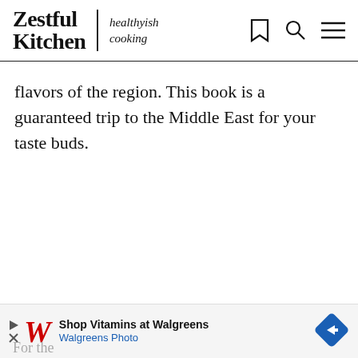Zestful Kitchen | healthyish cooking
flavors of the region. This book is a guaranteed trip to the Middle East for your taste buds.
[Figure (screenshot): Walgreens advertisement banner: 'Shop Vitamins at Walgreens / Walgreens Photo' with Walgreens logo and a blue diamond arrow icon]